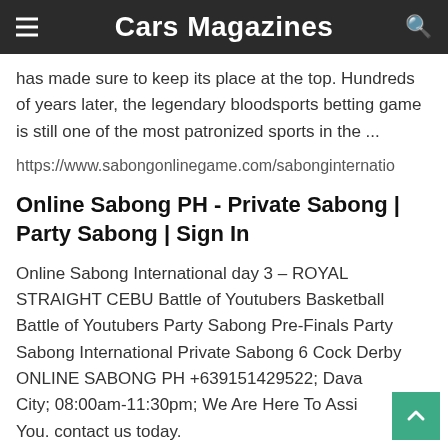Cars Magazines
has made sure to keep its place at the top. Hundreds of years later, the legendary bloodsports betting game is still one of the most patronized sports in the ...
https://www.sabongonlinegame.com/sabonginternatio
Online Sabong PH - Private Sabong | Party Sabong | Sign In
Online Sabong International day 3 – ROYAL STRAIGHT CEBU Battle of Youtubers Basketball Battle of Youtubers Party Sabong Pre-Finals Party Sabong International Private Sabong 6 Cock Derby ONLINE SABONG PH +639151429522; Davao City; 08:00am-11:30pm; We Are Here To Assist You. contact us today.